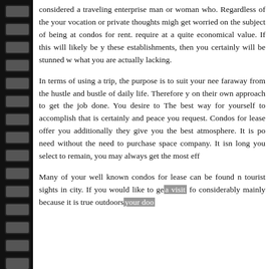considered a traveling enterprise man or woman who. Regardless of the your vocation or private thoughts might get worried on the subject of being at condos for rent. require at a quite economical value. If this will likely be y these establishments, then you certainly will be stunned w what you are actually lacking.
In terms of using a trip, the purpose is to suit your nee faraway from the hustle and bustle of daily life. Therefore y on their own approach to get the job done. You desire to The best way for yourself to accomplish that is certainly and peace you request. Condos for lease offer you additionally they give you the best atmosphere. It is po need without the need to purchase space company. It isn long you select to remain, you may always get the most eff
Many of your well known condos for lease can be found n tourist sights in city. If you would like to get a visit fo considerably mainly because it is true outdoors your doo